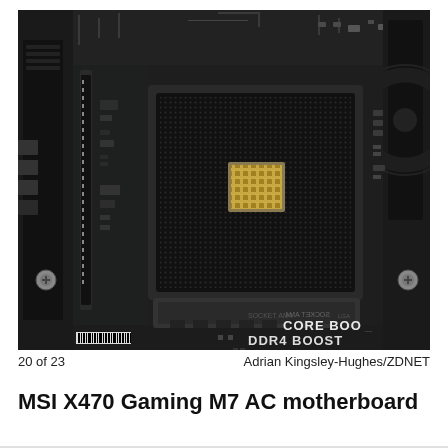[Figure (photo): Close-up photograph of an MSI X470 Gaming M7 AC motherboard showing the AM4 CPU socket (SOCKET AM4) in detail, with the LGA pin array visible, a central contact area, and surrounding PCB components. The bottom right of the motherboard reads 'CORE BOOST' and 'DDR4 BOOST'. A barcode is visible in the lower left of the image.]
20 of 23    Adrian Kingsley-Hughes/ZDNET
MSI X470 Gaming M7 AC motherboard